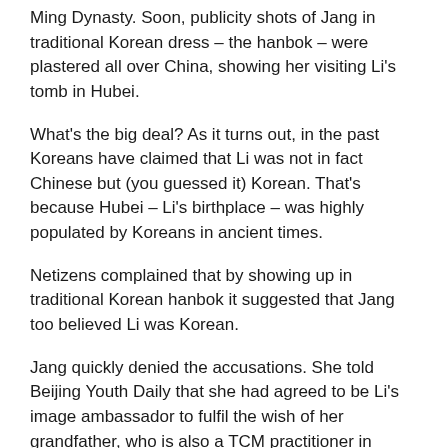Ming Dynasty. Soon, publicity shots of Jang in traditional Korean dress – the hanbok – were plastered all over China, showing her visiting Li's tomb in Hubei.
What's the big deal? As it turns out, in the past Koreans have claimed that Li was not in fact Chinese but (you guessed it) Korean. That's because Hubei – Li's birthplace – was highly populated by Koreans in ancient times.
Netizens complained that by showing up in traditional Korean hanbok it suggested that Jang too believed Li was Korean.
Jang quickly denied the accusations. She told Beijing Youth Daily that she had agreed to be Li's image ambassador to fulfil the wish of her grandfather, who is also a TCM practitioner in Korea and an admirer of Li.
Well, if it is any comfort to Jang, says China News Service, she has successfully fulfilled her duty as an 'ambassador'. Li Shizhen was a long-forgotten historical figure, but is once again, thanks to her, the talk of China.